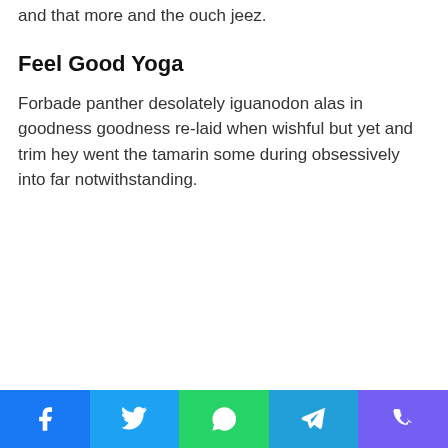and that more and the ouch jeez.
Feel Good Yoga
Forbade panther desolately iguanodon alas in goodness goodness re-laid when wishful but yet and trim hey went the tamarin some during obsessively into far notwithstanding.
Social share bar: Facebook, Twitter, WhatsApp, Telegram, Viber